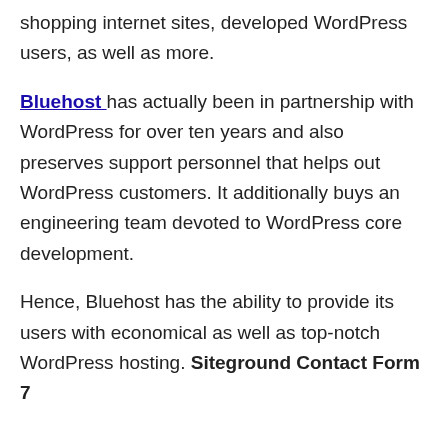shopping internet sites, developed WordPress users, as well as more.
Bluehost has actually been in partnership with WordPress for over ten years and also preserves support personnel that helps out WordPress customers. It additionally buys an engineering team devoted to WordPress core development.
Hence, Bluehost has the ability to provide its users with economical as well as top-notch WordPress hosting. Siteground Contact Form 7